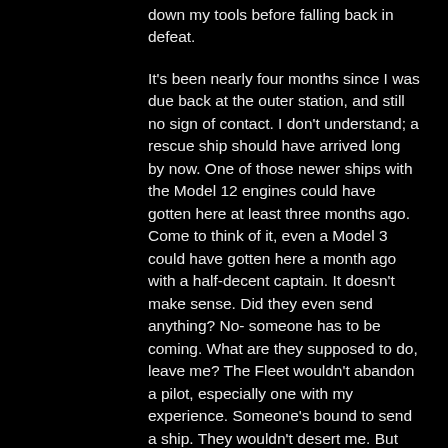down my tools before falling back in defeat.
It's been nearly four months since I was due back at the outer station, and still no sign of contact. I don't understand; a rescue ship should have arrived long by now. One of those newer ships with the Model 12 engines could have gotten here at least three months ago. Come to think of it, even a Model 3 could have gotten here a month ago with a half-decent captain. It doesn't make sense. Did they even send anything? No- someone has to be coming. What are they supposed to do, leave me? The Fleet wouldn't abandon a pilot, especially one with my experience. Someone's bound to send a ship. They wouldn't desert me. But what in the world could take them this long? I mean, I've been stranded for months now without any sign of aid -- no rescue ships. no supply drops, nothing. Just an empty sky above and dwindling supplies down